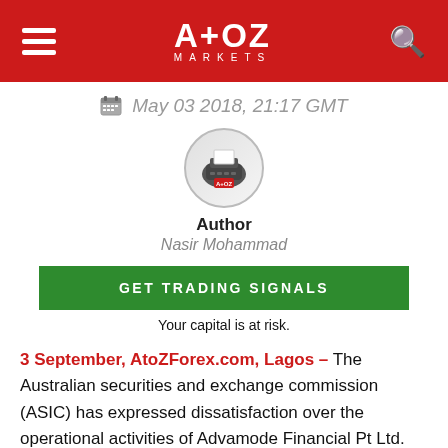A+OZ MARKETS
May 03 2018, 21:17 GMT
[Figure (illustration): Circular avatar icon with a typewriter illustration and AtoZ Markets logo badge]
Author
Nasir Mohammad
GET TRADING SIGNALS
Your capital is at risk.
3 September, AtoZForex.com, Lagos – The Australian securities and exchange commission (ASIC) has expressed dissatisfaction over the operational activities of Advamode Financial Pt Ltd. Therefore prompting the imposition of additional…